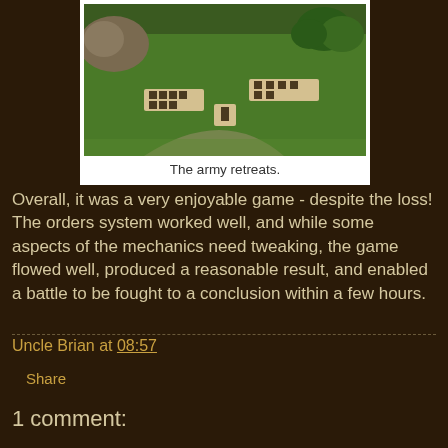[Figure (photo): Photograph of a tabletop wargame showing miniature soldiers on a green battlefield mat with terrain features including hills and trees. Multiple unit bases are visible, some appearing to retreat.]
The army retreats.
Overall, it was a very enjoyable game - despite the loss! The orders system worked well, and while some aspects of the mechanics need tweaking, the game flowed well, produced a reasonable result, and enabled a battle to be fought to a conclusion within a few hours.
Uncle Brian at 08:57
Share
1 comment: